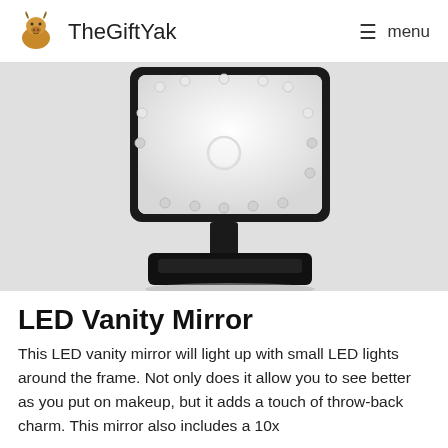TheGiftYak   menu
[Figure (photo): Black LED vanity mirror with illuminated LED lights around the rectangular frame, a center magnification circle, mounted on a black rectangular base with storage tray.]
LED Vanity Mirror
This LED vanity mirror will light up with small LED lights around the frame. Not only does it allow you to see better as you put on makeup, but it adds a touch of throw-back charm. This mirror also includes a 10x